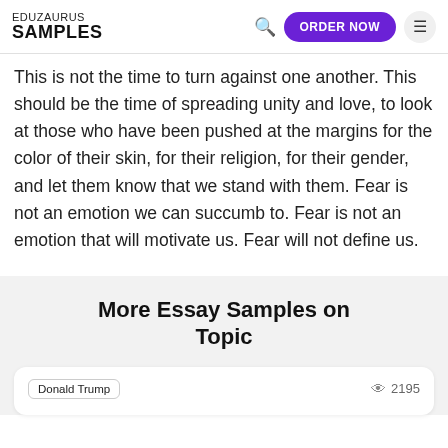EDUZAURUS SAMPLES | ORDER NOW
This is not the time to turn against one another. This should be the time of spreading unity and love, to look at those who have been pushed at the margins for the color of their skin, for their religion, for their gender, and let them know that we stand with them. Fear is not an emotion we can succumb to. Fear is not an emotion that will motivate us. Fear will not define us.
More Essay Samples on Topic
Donald Trump | 2195 views